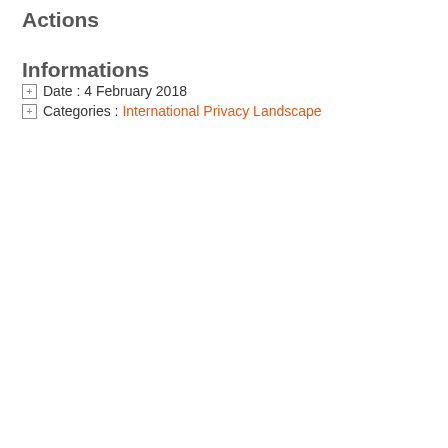Actions
Informations
Date : 4 February 2018
Categories : International Privacy Landscape